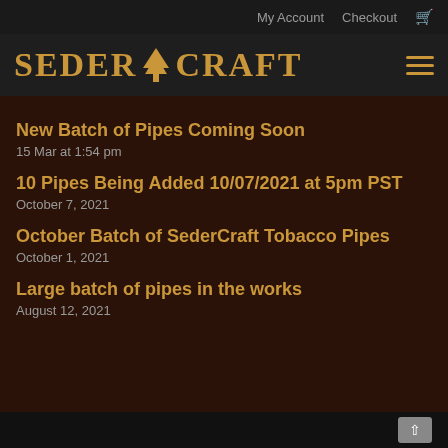My Account  Checkout  🛒
[Figure (logo): SederCraft logo with tree icon in gold serif text on dark background, hamburger menu icon on right]
New Batch of Pipes Coming Soon
15 Mar at 1:54 pm
10 Pipes Being Added 10/07/2021 at 5pm PST
October 7, 2021
October Batch of SederCraft Tobacco Pipes
October 1, 2021
Large batch of pipes in the works
August 12, 2021
▲